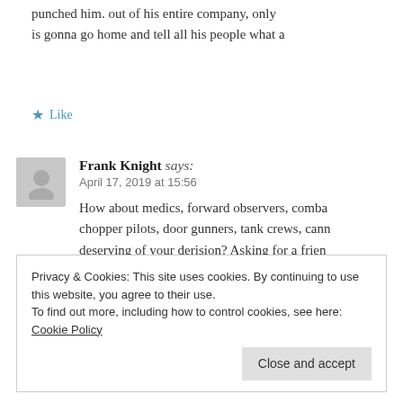punched him. out of his entire company, only is gonna go home and tell all his people what a
Like
Frank Knight says: April 17, 2019 at 15:56
How about medics, forward observers, comba chopper pilots, door gunners, tank crews, cann deserving of your derision? Asking for a frien
Like
Privacy & Cookies: This site uses cookies. By continuing to use this website, you agree to their use.
To find out more, including how to control cookies, see here: Cookie Policy
Close and accept